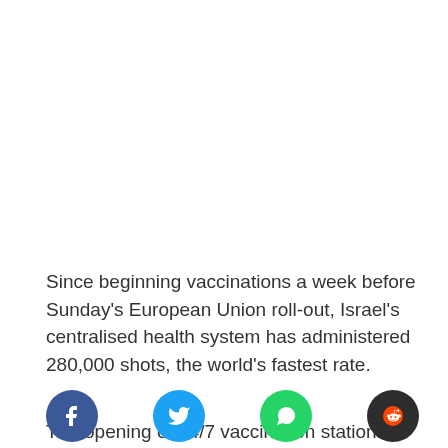Since beginning vaccinations a week before Sunday's European Union roll-out, Israel's centralised health system has administered 280,000 shots, the world's fastest rate.
The opening of 24/7 vaccination stations is under
[Figure (infographic): Social share buttons: Facebook (blue circle with f icon), Twitter (cyan circle with bird icon), WhatsApp (green circle with phone icon), Reddit (dark circle with alien icon)]